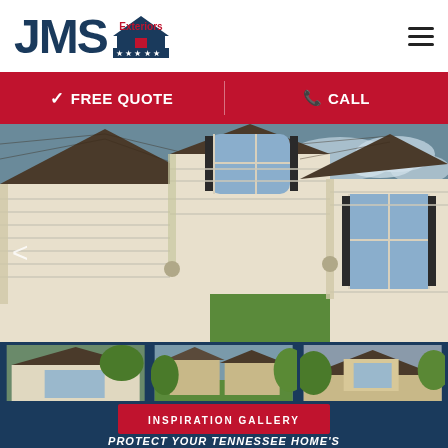[Figure (logo): JMS Exteriors logo with house/roof icon and 5 stars on navy background strip]
[Figure (infographic): Red navigation bar with checkmark FREE QUOTE on left and phone CALL on right, separated by vertical divider]
[Figure (photo): Hero photo of a white house with brown asphalt shingle roof, white vinyl siding, and green lawn]
[Figure (photo): Three thumbnail photos of houses with shingle roofs on dark navy background]
[Figure (infographic): Red INSPIRATION GALLERY button on dark navy background]
PROTECT YOUR TENNESSEE HOME'S